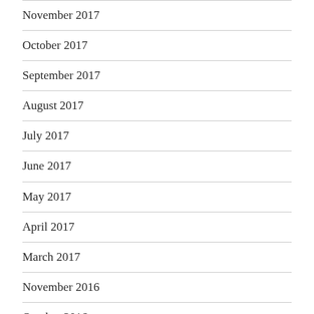November 2017
October 2017
September 2017
August 2017
July 2017
June 2017
May 2017
April 2017
March 2017
November 2016
October 2016